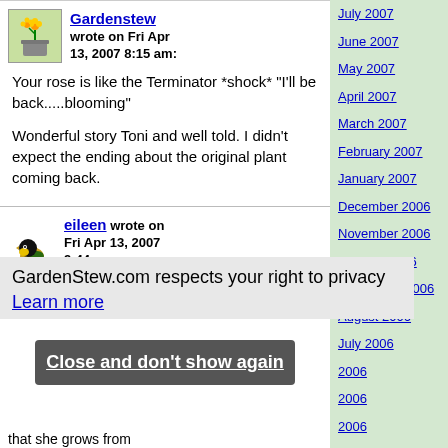Gardenstew wrote on Fri Apr 13, 2007 8:15 am:
Your rose is like the Terminator *shock* "I'll be back.....blooming"

Wonderful story Toni and well told. I didn't expect the ending about the original plant coming back.
eileen wrote on Fri Apr 13, 2007 9:44 am:
July 2007
June 2007
May 2007
April 2007
March 2007
February 2007
January 2007
December 2006
November 2006
October 2006
September 2006
August 2006
July 2006
2006
2006
2006
ch 2006
GardenStew.com respects your right to privacy
Learn more
Close and don't show again
that she grows from